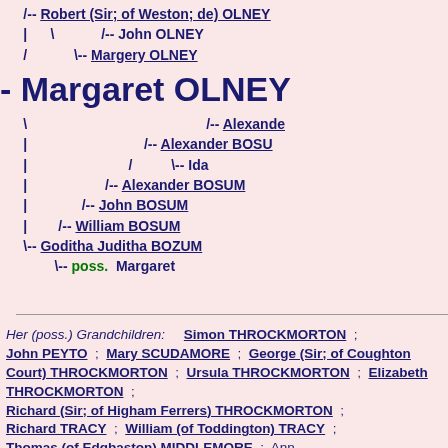[Figure (other): Genealogy tree diagram showing ancestry of Margaret OLNEY with branches to Robert (Sir; of Weston; de) OLNEY, John OLNEY, Margery OLNEY, and descendants through BOSUM/BOZUM line including Alexander, John, William BOSUM, Goditha Juditha BOZUM, and poss. Margaret]
Her (poss.) Grandchildren: Simon THROCKMORTON ; John PEYTO ; Mary SCUDAMORE ; George (Sir; of Coughton Court) THROCKMORTON ; Ursula THROCKMORTON ; Elizabeth THROCKMORTON ; Richard (Sir; of Higham Ferrers) THROCKMORTON ; Richard TRACY ; William (of Toddington) TRACY ; Thomas (of Edgbaston) MIDDLEMORE ; Ann